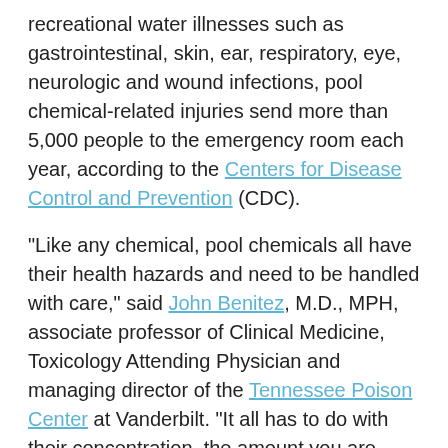recreational water illnesses such as gastrointestinal, skin, ear, respiratory, eye, neurologic and wound infections, pool chemical-related injuries send more than 5,000 people to the emergency room each year, according to the Centers for Disease Control and Prevention (CDC).
"Like any chemical, pool chemicals all have their health hazards and need to be handled with care," said John Benitez, M.D., MPH, associate professor of Clinical Medicine, Toxicology Attending Physician and managing director of the Tennessee Poison Center at Vanderbilt. "It all has to do with their concentration, the amount you are exposed to and over what period of time."
Benitez says pool chemicals can irritate the eyes, nose and throat and eventually skin if the pH of your pool is not properly balanced. Knowing your chemicals, reading and following the instructions